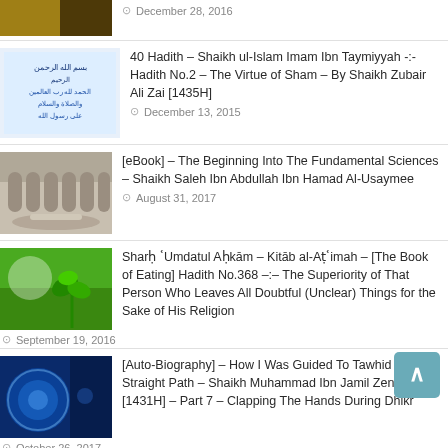[Figure (photo): Partial thumbnail of gold/dark image at top]
December 28, 2016
[Figure (photo): Arabic text on blue/white background thumbnail]
40 Hadith – Shaikh ul-Islam Imam Ibn Taymiyyah -:- Hadith No.2 – The Virtue of Sham – By Shaikh Zubair Ali Zai [1435H]
December 13, 2015
[Figure (photo): Mosque arches architecture thumbnail]
[eBook] – The Beginning Into The Fundamental Sciences – Shaikh Saleh Ibn Abdullah Ibn Hamad Al-Usaymee
August 31, 2017
[Figure (photo): Green plant on bright green background thumbnail]
Sharḥ ʿUmdatul Aḥkām – Kitāb al-Aṭʿimah – [The Book of Eating] Hadith No.368 –:– The Superiority of That Person Who Leaves All Doubtful (Unclear) Things for the Sake of His Religion
September 19, 2016
[Figure (photo): Blue cosmic/planet image thumbnail]
[Auto-Biography] – How I Was Guided To Tawhid & The Straight Path – Shaikh Muhammad Ibn Jamil Zeno [1431H] – Part 7 – Clapping The Hands During Dhikr
October 26, 2017
[Figure (photo): Black thumbnail with white circle]
When Did Taqleed Start